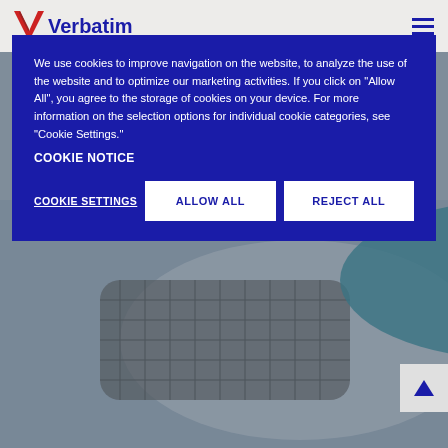[Figure (screenshot): Verbatim website header with logo on left and hamburger menu icon on right, over a light beige background]
[Figure (photo): Close-up photo of sneaker/shoe sole showing tread pattern, with teal/blue shoe visible in background, entire image dimmed/muted]
We use cookies to improve navigation on the website, to analyze the use of the website and to optimize our marketing activities. If you click on "Allow All", you agree to the storage of cookies on your device. For more information on the selection options for individual cookie categories, see "Cookie Settings."
COOKIE NOTICE
COOKIE SETTINGS
ALLOW ALL
REJECT ALL